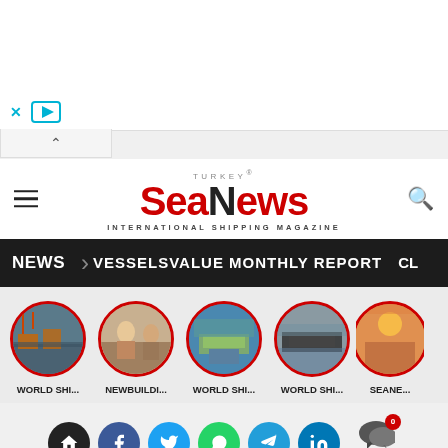[Figure (screenshot): Advertisement banner area with close (X) and play button controls in cyan/teal color]
SeaNews Turkey® International Shipping Magazine
NEWS > VESSELSVALUE MONTHLY REPORT CL...
[Figure (infographic): Row of five circular thumbnail images with red borders: WORLD SHI..., NEWBUILDI..., WORLD SHI..., WORLD SHI..., SEANE...]
[Figure (infographic): Social media icon bar: home, Facebook, Twitter, WhatsApp, Telegram, LinkedIn, Comments (0)]